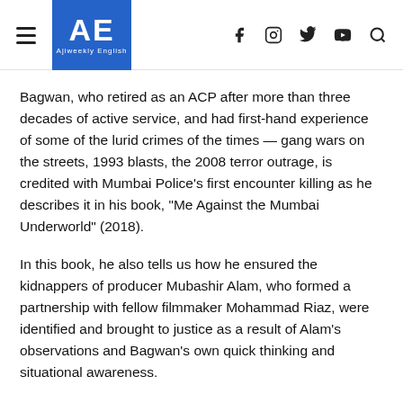AE Ajiweekly English
Bagwan, who retired as an ACP after more than three decades of active service, and had first-hand experience of some of the lurid crimes of the times — gang wars on the streets, 1993 blasts, the 2008 terror outrage, is credited with Mumbai Police's first encounter killing as he describes it in his book, "Me Against the Mumbai Underworld" (2018).
In this book, he also tells us how he ensured the kidnappers of producer Mubashir Alam, who formed a partnership with fellow filmmaker Mohammad Riaz, were identified and brought to justice as a result of Alam's observations and Bagwan's own quick thinking and situational awareness.
As Bagwan recounts, he was then in the Crime Branch, under the legendary (then) Inspector Madhukar Zende, in the Mumbai Police headquarters, when one day they were informed that actor Dilip Kumar had come to meet city